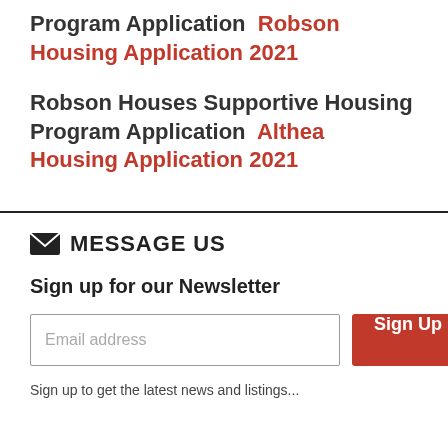Program Application  Robson Housing Application 2021
Robson Houses Supportive Housing Program Application  Althea Housing Application 2021
MESSAGE US
Sign up for our Newsletter
Email address
Sign up to get the latest news and listings...